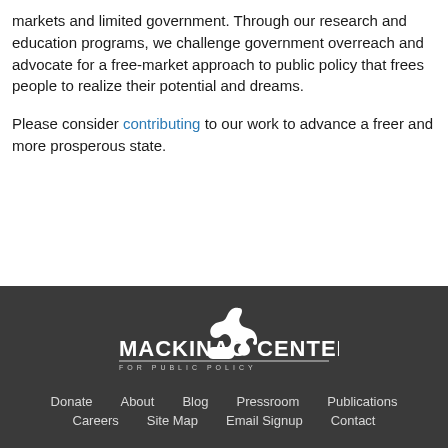markets and limited government. Through our research and education programs, we challenge government overreach and advocate for a free-market approach to public policy that frees people to realize their potential and dreams.
Please consider contributing to our work to advance a freer and more prosperous state.
[Figure (logo): Mackinac Center for Public Policy logo — white text and Michigan state silhouette on dark background]
Donate   About   Blog   Pressroom   Publications   Careers   Site Map   Email Signup   Contact